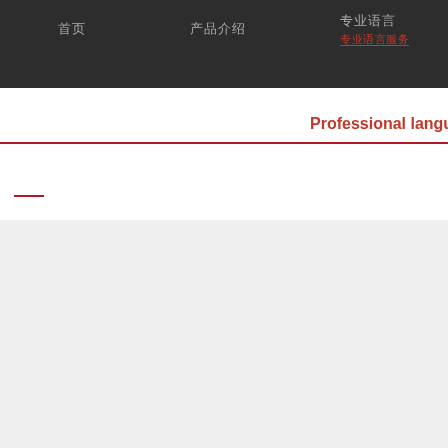首页  产品介绍  专业语言服务 Professional language
Professional language